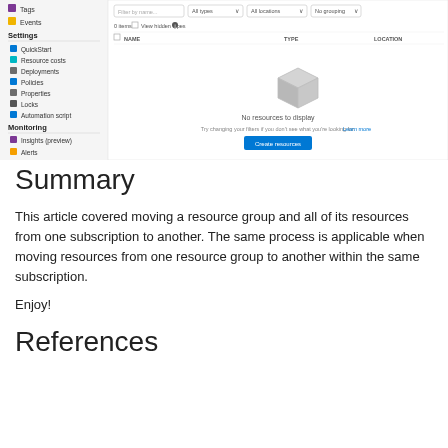[Figure (screenshot): Azure portal screenshot showing a resource group sidebar with Settings (QuickStart, Resource costs, Deployments, Policies, Properties, Locks, Automation script) and Monitoring (Insights preview, Alerts) sections. The main panel shows an empty resource list with 'No resources to display' message and a 'Create resources' button.]
Summary
This article covered moving a resource group and all of its resources from one subscription to another. The same process is applicable when moving resources from one resource group to another within the same subscription.
Enjoy!
References